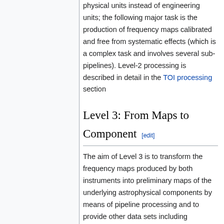physical units instead of engineering units; the following major task is the production of frequency maps calibrated and free from systematic effects (which is a complex task and involves several sub-pipelines). Level-2 processing is described in detail in the TOI processing section
Level 3: From Maps to Component [edit]
The aim of Level 3 is to transform the frequency maps produced by both instruments into preliminary maps of the underlying astrophysical components by means of pipeline processing and to provide other data sets including description of astrophysical sources (final catalogue of point sources,